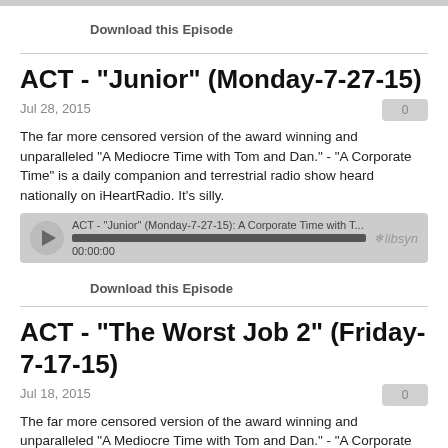Download this Episode
ACT - "Junior" (Monday-7-27-15)
Jul 28, 2015
The far more censored version of the award winning and unparalleled "A Mediocre Time with Tom and Dan." - "A Corporate Time" is a daily companion and terrestrial radio show heard nationally on iHeartRadio. It's silly.
[Figure (other): Audio player bar showing ACT - "Junior" (Monday-7-27-15): A Corporate Time with T... with progress bar at 00:00:00 and libsyn logo]
Download this Episode
ACT - "The Worst Job 2" (Friday-7-17-15)
Jul 18, 2015
The far more censored version of the award winning and unparalleled "A Mediocre Time with Tom and Dan." - "A Corporate Time" is a daily companion and terrestrial radio show heard nationally on iHeartRadio. It's silly.